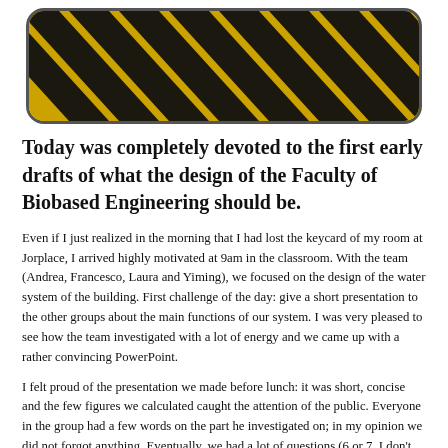[Figure (photo): Yellow and black diagonal hazard warning stripe sign with rounded rectangle border]
Today was completely devoted to the first early drafts of what the design of the Faculty of Biobased Engineering should be.
Even if I just realized in the morning that I had lost the keycard of my room at Jorplace, I arrived highly motivated at 9am in the classroom. With the team (Andrea, Francesco, Laura and Yiming), we focused on the design of the water system of the building. First challenge of the day: give a short presentation to the other groups about the main functions of our system. I was very pleased to see how the team investigated with a lot of energy and we came up with a rather convincing PowerPoint.
I felt proud of the presentation we made before lunch: it was short, concise and the few figures we calculated caught the attention of the public. Everyone in the group had a few words on the part he investigated on; in my opinion we did not forgot anything. Eventually, we had a lot of questions (6 or 7, I don’t remember), it was the sign that everyone in the room listened and they felt interested in what we said : that is why I am really proud of what we did!
I also liked the presentation of the team working on education. They had the most difficult part, I am afraid, but they made a good analysis of the situation. On the other